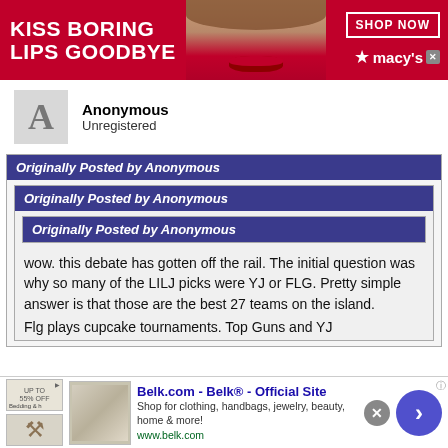[Figure (photo): Top banner advertisement for Macy's cosmetics: red background with text 'KISS BORING LIPS GOODBYE', photo of woman's face with red lips, 'SHOP NOW' button, and Macy's star logo with close button.]
Anonymous
Unregistered
Originally Posted by Anonymous
Originally Posted by Anonymous
Originally Posted by Anonymous
wow. this debate has gotten off the rail. The initial question was why so many of the LILJ picks were YJ or FLG. Pretty simple answer is that those are the best 27 teams on the island.
Flg plays cupcake tournaments. Top Guns and YJ
[Figure (screenshot): Bottom advertisement for Belk.com - Belk Official Site. Shows thumbnail images of bedding, text 'Belk.com - Belk® - Official Site', 'Shop for clothing, handbags, jewelry, beauty, home & more!', 'www.belk.com', close X button, and blue arrow next button.]